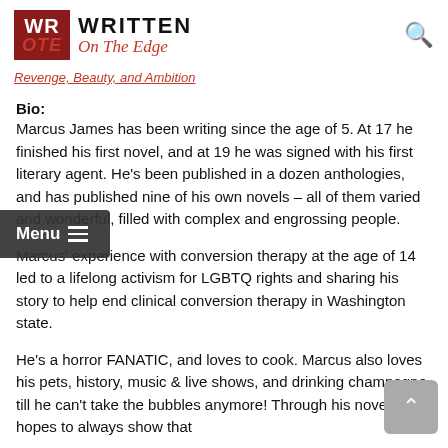WROTE Written On The Edge
Revenge, Beauty, and Ambition
Bio:
Marcus James has been writing since the age of 5. At 17 he finished his first novel, and at 19 he was signed with his first literary agent. He's been published in a dozen anthologies, and has published nine of his own novels – all of them varied and wonderful, filled with complex and engrossing people.
Marcus' experience with conversion therapy at the age of 14 led to a lifelong activism for LGBTQ rights and sharing his story to help end clinical conversion therapy in Washington state.
He's a horror FANATIC, and loves to cook. Marcus also loves his pets, history, music & live shows, and drinking champagne till he can't take the bubbles anymore! Through his novels he hopes to always show that